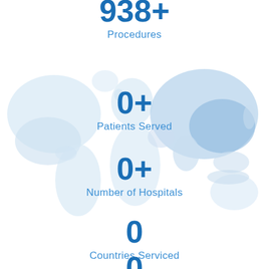[Figure (infographic): World map silhouette in light blue tones as background, with Asia highlighted in slightly darker blue]
938+
Procedures
0+
Patients Served
0+
Number of Hospitals
0
Countries Serviced
0